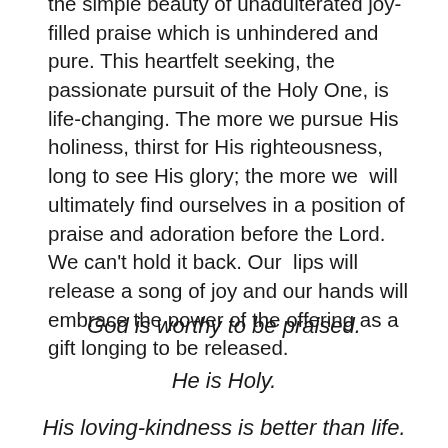the simple beauty of unadulterated joy-filled praise which is unhindered and pure. This heartfelt seeking, the passionate pursuit of the Holy One, is life-changing. The more we pursue His holiness, thirst for His righteousness, long to see His glory; the more we  will ultimately find ourselves in a position of praise and adoration before the Lord. We can't hold it back. Our  lips will release a song of joy and our hands will embrace the power of the offering as a gift longing to be released.
God is worthy to be praised.
He is Holy.
His loving-kindness is better than life.